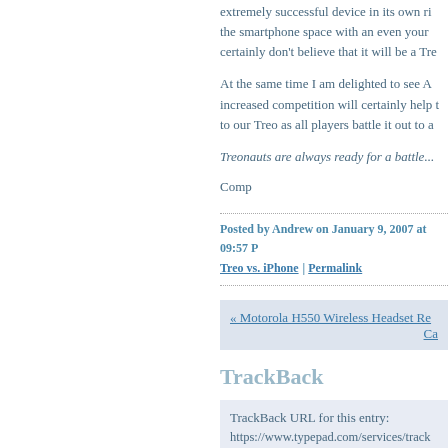extremely successful device in its own right, the smartphone space with an even your certainly don't believe that it will be a Tre
At the same time I am delighted to see A increased competition will certainly help t to our Treo as all players battle it out to a
Treonauts are always ready for a battle...
Comp
Posted by Andrew on January 9, 2007 at 09:57 P
Treo vs. iPhone | Permalink
« Motorola H550 Wireless Headset Re Ca
TrackBack
TrackBack URL for this entry:
https://www.typepad.com/services/track